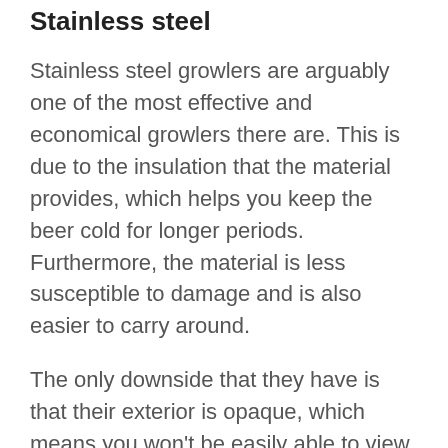Stainless steel
Stainless steel growlers are arguably one of the most effective and economical growlers there are. This is due to the insulation that the material provides, which helps you keep the beer cold for longer periods. Furthermore, the material is less susceptible to damage and is also easier to carry around.
The only downside that they have is that their exterior is opaque, which means you won't be easily able to view what's inside, making the filling part quite difficult.
Keeping your growler clean